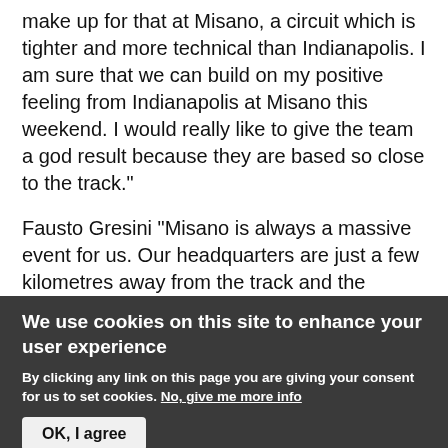make up for that at Misano, a circuit which is tighter and more technical than Indianapolis. I am sure that we can build on my positive feeling from Indianapolis at Misano this weekend. I would really like to give the team a god result because they are based so close to the track."
Fausto Gresini "Misano is always a massive event for us. Our headquarters are just a few kilometres away from the track and the atmosphere there is always emotional. We are proud to have hosted the "Dedikato" evening ever since the championship returned to this circuit and it is our way of maintaining the memory of the unforgettable Daijiro Kato, who gave us so many extraordinary moments, as well as supporting the
We use cookies on this site to enhance your user experience
By clicking any link on this page you are giving your consent for us to set cookies. No, give me more info
OK, I agree